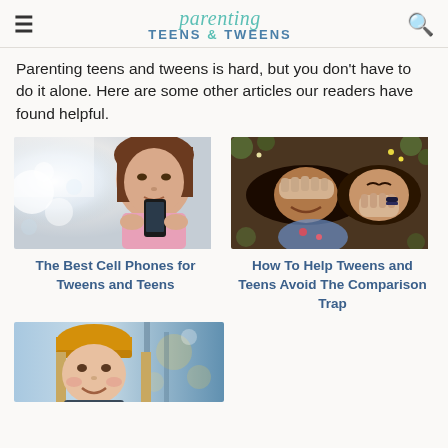parenting TEENS & TWEENS
Parenting teens and tweens is hard, but you don't have to do it alone. Here are some other articles our readers have found helpful.
[Figure (photo): Teenage girl looking at her smartphone against a bright bokeh background]
[Figure (photo): Two teenage girls lying on the ground, one covering her eyes and one covering her mouth, smiling]
The Best Cell Phones for Tweens and Teens
How To Help Tweens and Teens Avoid The Comparison Trap
[Figure (photo): Teenage girl wearing a yellow beanie hat, smiling, outdoor winter scene]